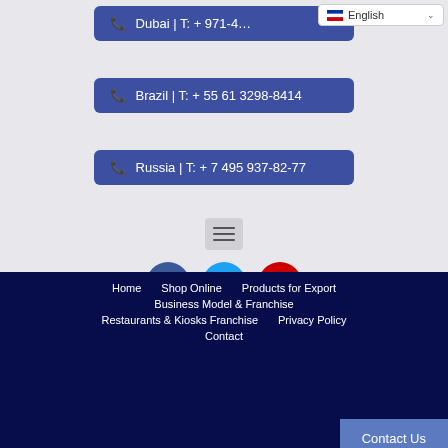Dubai | T: + 971-4…
English
Brazil | T: + 55 61 3298-8414
Russia | T: + 7 495 937-82-77
[Figure (infographic): Hamburger menu icon (three horizontal lines) on a light grey background]
[Figure (infographic): Three social media circular icon buttons: Facebook (dark blue), Twitter (sky blue), YouTube (red)]
Home   Shop Online   Products for Export   Business Model & Franchise   Restaurants & Kiosks Franchise   Privacy Policy   Contact
Contact Us